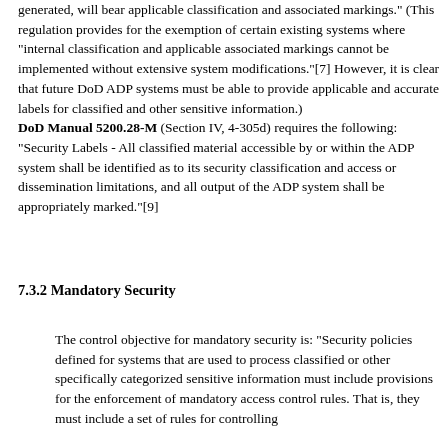generated, will bear applicable classification and associated markings." (This regulation provides for the exemption of certain existing systems where "internal classification and applicable associated markings cannot be implemented without extensive system modifications."[7] However, it is clear that future DoD ADP systems must be able to provide applicable and accurate labels for classified and other sensitive information.) DoD Manual 5200.28-M (Section IV, 4-305d) requires the following: "Security Labels - All classified material accessible by or within the ADP system shall be identified as to its security classification and access or dissemination limitations, and all output of the ADP system shall be appropriately marked."[9]
7.3.2 Mandatory Security
The control objective for mandatory security is: "Security policies defined for systems that are used to process classified or other specifically categorized sensitive information must include provisions for the enforcement of mandatory access control rules. That is, they must include a set of rules for controlling